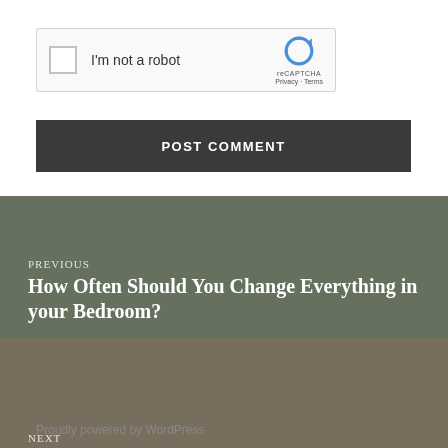[Figure (screenshot): reCAPTCHA widget with checkbox labeled 'I'm not a robot' and the reCAPTCHA logo with Privacy and Terms links]
POST COMMENT
PREVIOUS
How Often Should You Change Everything in your Bedroom?
NEXT
Tips for Packing Bedding and Linens for a Move
Proudly powered by WordPress